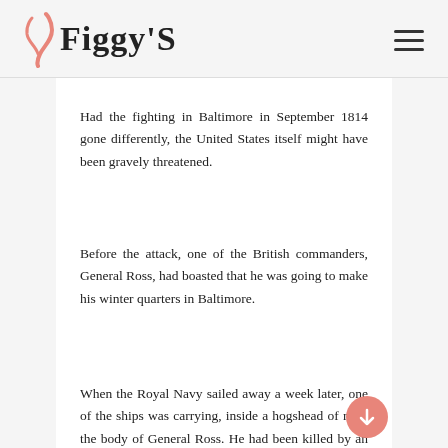Figgy'S
Had the fighting in Baltimore in September 1814 gone differently, the United States itself might have been gravely threatened.
Before the attack, one of the British commanders, General Ross, had boasted that he was going to make his winter quarters in Baltimore.
When the Royal Navy sailed away a week later, one of the ships was carrying, inside a hogshead of rum, the body of General Ross. He had been killed by an American sharpshooter outside Baltimore.